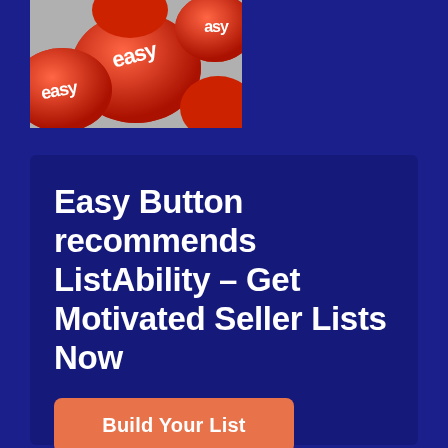[Figure (photo): Close-up photo of multiple red round 'easy' buttons with white text, arranged in a cluster against a grey background]
Easy Button recommends ListAbility – Get Motivated Seller Lists Now
Build Your List